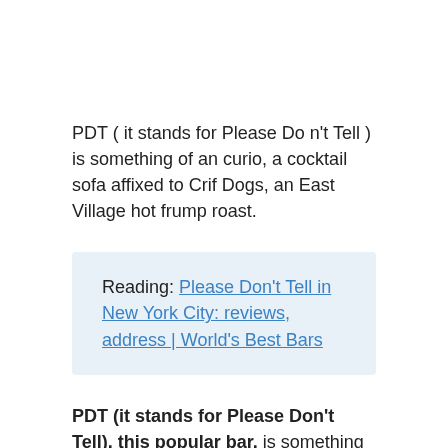PDT ( it stands for Please Do n't Tell ) is something of an curio, a cocktail sofa affixed to Crif Dogs, an East Village hot frump roast.
Reading: Please Don't Tell in New York City: reviews, address | World's Best Bars
PDT (it stands for Please Don't Tell), this popular bar, is something of an oddity, a cocktail sofa affixed to Crif Dogs, an East